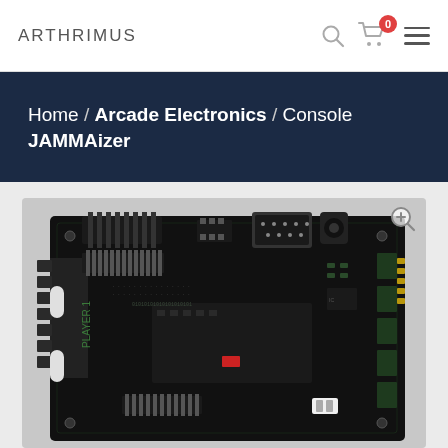ARTHRIMUS
Home / Arcade Electronics / Console JAMMAizer
[Figure (photo): Close-up photo of a JAMMAizer arcade electronics circuit board (PCB) with black soldermask, showing various connectors including an edge connector, DB-9 connector, power jack, pin headers, and labeled 'PLAYER 1'. A red component is visible near the center. The board has numerous SMD components and traces visible.]